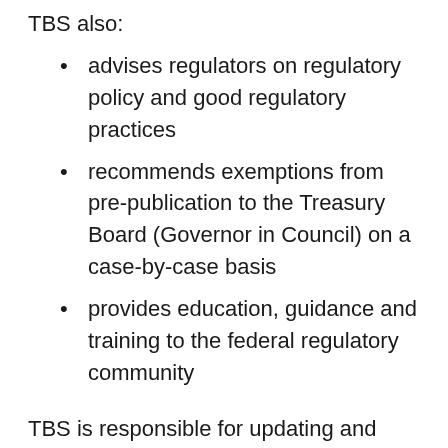TBS also:
advises regulators on regulatory policy and good regulatory practices
recommends exemptions from pre-publication to the Treasury Board (Governor in Council) on a case-by-case basis
provides education, guidance and training to the federal regulatory community
TBS is responsible for updating and maintaining this policy and any supporting